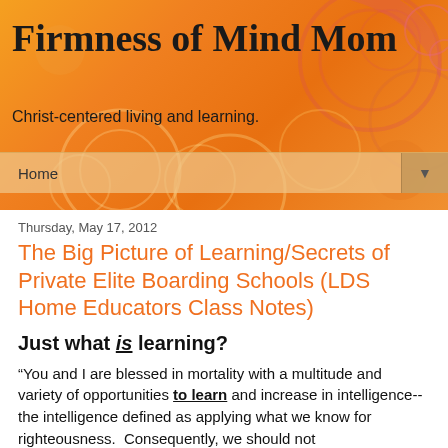Firmness of Mind Mom
Christ-centered living and learning.
Home
Thursday, May 17, 2012
The Big Picture of Learning/Secrets of Private Elite Boarding Schools (LDS Home Educators Class Notes)
Just what is learning?
“You and I are blessed in mortality with a multitude and variety of opportunities to learn and increase in intelligence--the intelligence defined as applying what we know for righteousness.  Consequently, we should not